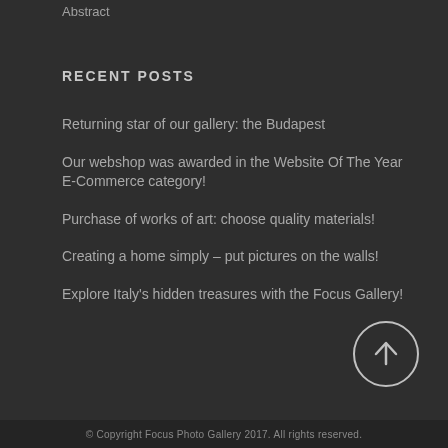Abstract
RECENT POSTS
Returning star of our gallery: the Budapest
Our webshop was awarded in the Website Of The Year E-Commerce category!
Purchase of works of art: choose quality materials!
Creating a home simply – put pictures on the walls!
Explore Italy's hidden treasures with the Focus Gallery!
© Copyright Focus Photo Gallery 2017. All rights reserved.